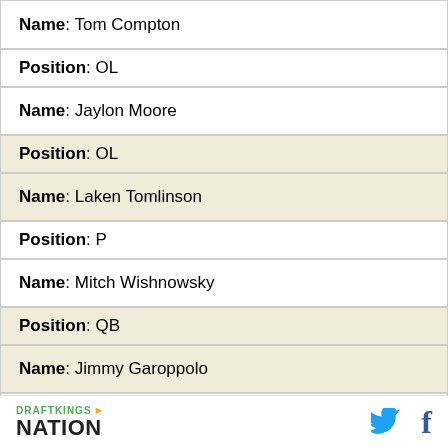| Name | Tom Compton |
| Position | OL |
| Name | Jaylon Moore |
| Position | OL |
| Name | Laken Tomlinson |
| Position | P |
| Name | Mitch Wishnowsky |
| Position | QB |
| Name | Jimmy Garoppolo |
| Position | QB |
[Figure (logo): DraftKings Nation logo with Twitter and Facebook social icons in footer]